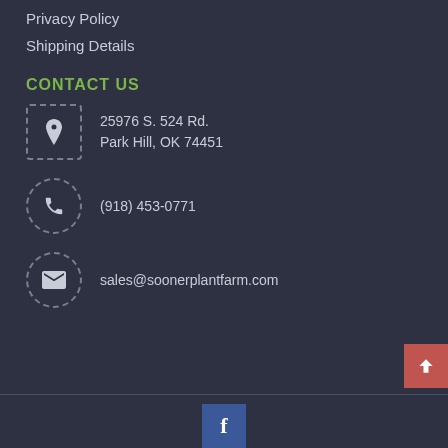Privacy Policy
Shipping Details
CONTACT US
25976 S. 524 Rd.
Park Hill, OK 74451
(918) 453-0771
sales@soonerplantfarm.com
[Figure (other): Scroll to top button with upward chevron, red/salmon background]
[Figure (other): Facebook social media icon button, blue background]